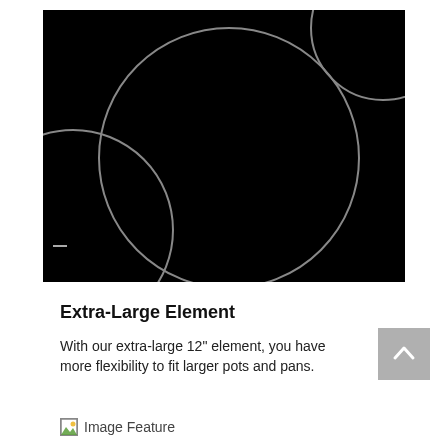[Figure (photo): Close-up top view of a black glass electric cooktop showing circular burner elements — a large center burner circle, a partial smaller circle on the upper right, and a partial circle on the left side. The surface is black with gray circle outlines on the glass.]
Extra-Large Element
With our extra-large 12" element, you have more flexibility to fit larger pots and pans.
[Figure (other): Image Feature placeholder icon with broken image indicator]